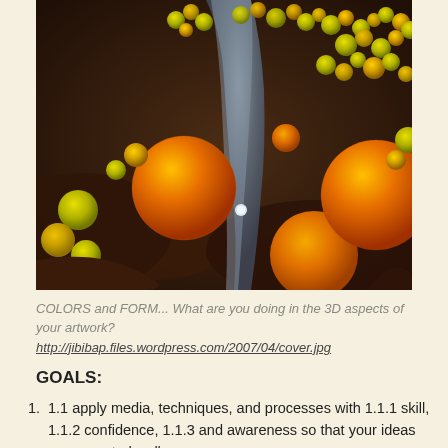[Figure (photo): Colorized scanning electron microscope image showing yellow and orange spherical bacterial cells (likely Staphylococcus aureus) clustered around a blue-gray elongated cell structure, against a dark brown background.]
COLORS and FORM... What are you doing in the 3D aspects of your artwork?
http://jibibap.files.wordpress.com/2007/04/cover.jpg
GOALS:
1.1 apply media, techniques, and processes with 1.1.1 skill, 1.1.2 confidence, 1.1.3 and awareness so that your ideas are executed well